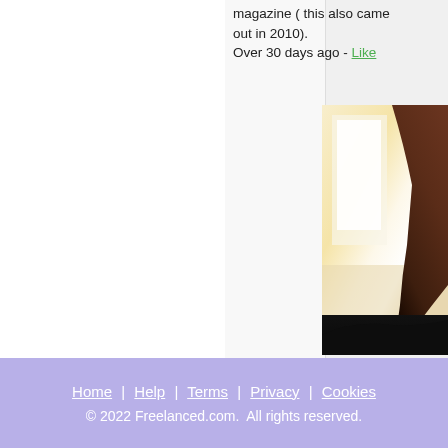magazine ( this also came out in 2010).
Over 30 days ago - Like
[Figure (photo): Partial photo of a person with dark hair wearing a black top, in a bright room with light-colored walls]
Home | Help | Terms | Privacy | Cookies
© 2022 Freelanced.com. All rights reserved.